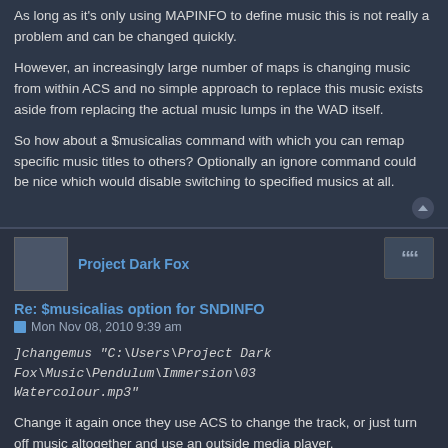As long as it's only using MAPINFO to define music this is not really a problem and can be changed quickly.
However, an increasingly large number of maps is changing music from within ACS and no simple approach to replace this music exists aside from replacing the actual music lumps in the WAD itself.
So how about a $musicalias command with which you can remap specific music titles to others? Optionally an ignore command could be nice which would disable switching to specified musics at all.
Project Dark Fox
Re: $musicalias option for SNDINFO
Mon Nov 08, 2010 9:39 am
]changemus "C:\Users\Project Dark Fox\Music\Pendulum\Immersion\03 Watercolour.mp3"
Change it again once they use ACS to change the track, or just turn off music altogether and use an outside media player.
Jimmy